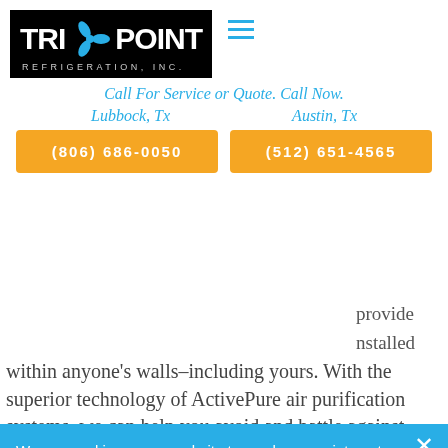[Figure (logo): Tri-Point Refrigeration Inc. logo with black background and blue fan icon]
Call For Service or Quote. Call Now.
Lubbock, Tx
Austin, Tx
(806) 686-0050
(512) 651-4565
within anyone's walls–including yours. With the superior technology of ActivePure air purification systems, we can help you avoid and battle against airborne contaminants and viruses. However, there is
We use cookies on our website to see how you interact with it. By accepting, you agree to our use of such cookies. Privacy Policy
Decline All
Accept
Settings